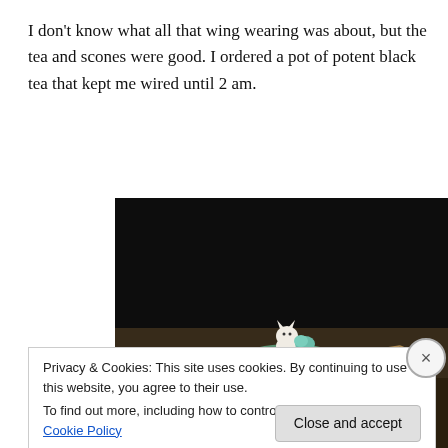I don't know what all that wing wearing was about, but the tea and scones were good. I ordered a pot of potent black tea that kept me wired until 2 am.
[Figure (photo): A dark red ceramic teapot with a teal lid, decorated with a small white cat figurine on top. The teapot is sitting on a reflective surface. There is a string or tag visible. The background is dark.]
Privacy & Cookies: This site uses cookies. By continuing to use this website, you agree to their use.
To find out more, including how to control cookies, see here: Cookie Policy